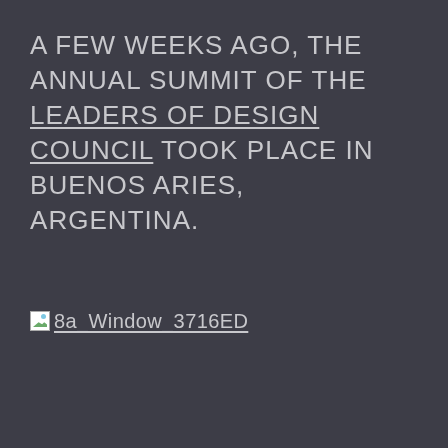A FEW WEEKS AGO, THE ANNUAL SUMMIT OF THE LEADERS OF DESIGN COUNCIL TOOK PLACE IN BUENOS ARIES, ARGENTINA.
[Figure (other): Broken image placeholder with alt text '8a_Window_3716ED' shown as a small broken image icon followed by an underlined filename link]